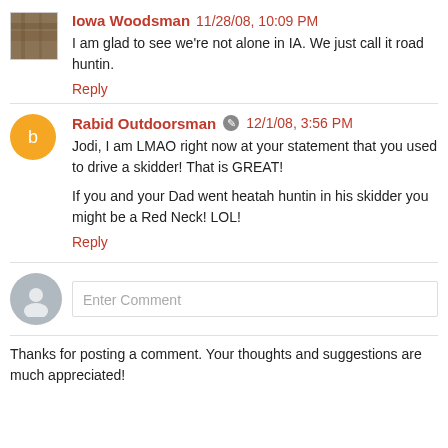Iowa Woodsman 11/28/08, 10:09 PM
I am glad to see we're not alone in IA. We just call it road huntin.
Reply
Rabid Outdoorsman 12/1/08, 3:56 PM
Jodi, I am LMAO right now at your statement that you used to drive a skidder! That is GREAT!
If you and your Dad went heatah huntin in his skidder you might be a Red Neck! LOL!
Reply
Enter Comment
Thanks for posting a comment. Your thoughts and suggestions are much appreciated!